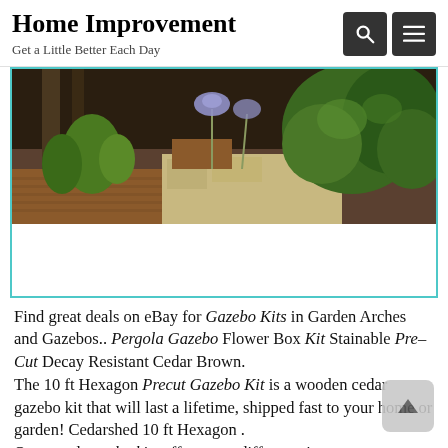Home Improvement
Get a Little Better Each Day
[Figure (photo): Outdoor garden patio with plants, flowers (purple agapanthus), wooden decking, a pergola/column structure, and lush green shrubs under bright sunlight]
Find great deals on eBay for Gazebo Kits in Garden Arches and Gazebos.. Pergola Gazebo Flower Box Kit Stainable Pre–Cut Decay Resistant Cedar Brown.
The 10 ft Hexagon Precut Gazebo Kit is a wooden cedar gazebo kit that will last a lifetime, shipped fast to your home or garden! Cedarshed 10 ft Hexagon .
Our wood gazebo kits offer many different sizes